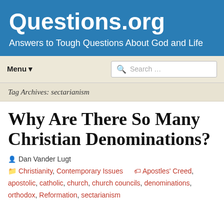Questions.org
Answers to Tough Questions About God and Life
Menu ▾
Search ...
Tag Archives: sectarianism
Why Are There So Many Christian Denominations?
Dan Vander Lugt
Christianity, Contemporary Issues  Apostles' Creed, apostolic, catholic, church, church councils, denominations, orthodox, Reformation, sectarianism